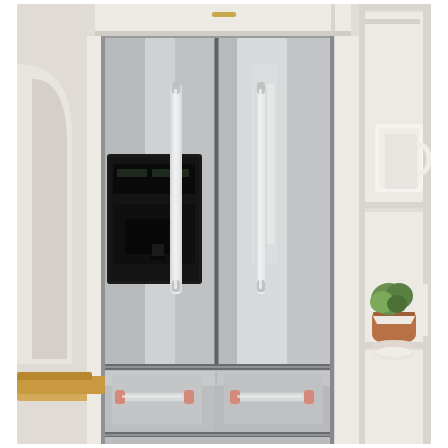[Figure (photo): A stainless steel French door refrigerator with a built-in water and ice dispenser on the left upper door. The refrigerator has two upper French doors with vertical chrome bar handles, two middle freezer drawers with horizontal bar handles, and one bottom freezer drawer with a horizontal bar handle. The refrigerator is installed flush in white kitchen cabinetry. To the right of the refrigerator is a tall white built-in shelving unit displaying a white ceramic mug, white dishes, and a small potted green plant in a terracotta pot. To the left is a white arched doorway and a wooden countertop or ledge. The kitchen has a neutral, light color palette.]